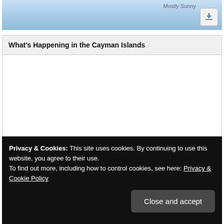[Figure (screenshot): Top banner with light blue sky background, italic text partially visible on right side, and a download button icon in bottom-right corner]
What's Happening in the Cayman Islands
Privacy & Cookies: This site uses cookies. By continuing to use this website, you agree to their use.
To find out more, including how to control cookies, see here: Privacy & Cookie Policy
Close and accept